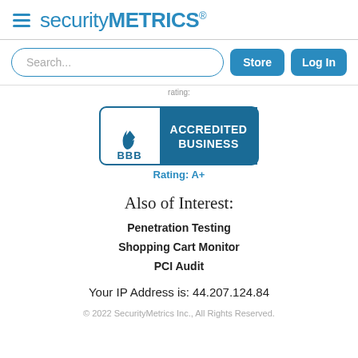securityMETRICS
Search...
[Figure (logo): BBB Accredited Business badge with Rating: A+]
Rating: A+
Also of Interest:
Penetration Testing
Shopping Cart Monitor
PCI Audit
Your IP Address is: 44.207.124.84
© 2022 SecurityMetrics Inc., All Rights Reserved.